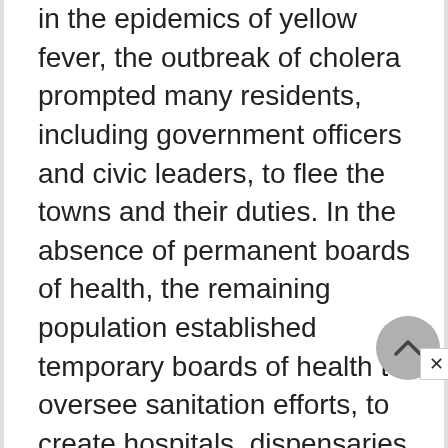in the epidemics of yellow fever, the outbreak of cholera prompted many residents, including government officers and civic leaders, to flee the towns and their duties. In the absence of permanent boards of health, the remaining population established temporary boards of health to oversee sanitation efforts, to create hospitals, dispensaries, and other medical services, to enforce quarantine and sanitation laws, and to provide social services such as burials and the care